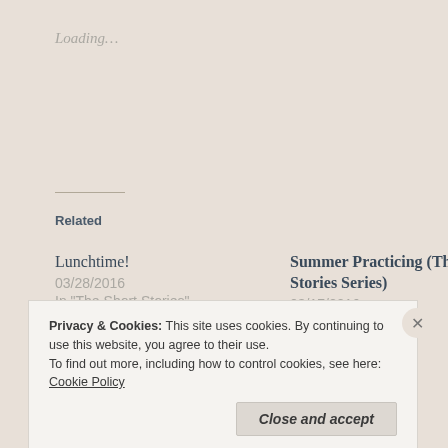Loading…
Related
Lunchtime!
03/28/2016
In "The Short Stories"
Summer Practicing (The Short Stories Series)
03/17/2016
In "The Short Stories"
God's Opinion
05/31/2015
In "Philosophical Ramblings"
Privacy & Cookies: This site uses cookies. By continuing to use this website, you agree to their use.
To find out more, including how to control cookies, see here: Cookie Policy
Close and accept